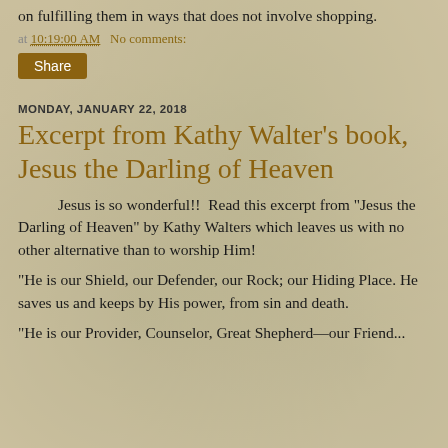on fulfilling them in ways that does not involve shopping.
at 10:19:00 AM   No comments:
Share
MONDAY, JANUARY 22, 2018
Excerpt from Kathy Walter's book, Jesus the Darling of Heaven
Jesus is so wonderful!!  Read this excerpt from "Jesus the Darling of Heaven" by Kathy Walters which leaves us with no other alternative than to worship Him!
"He is our Shield, our Defender, our Rock; our Hiding Place. He saves us and keeps by His power, from sin and death.
"He is our Provider, Counselor, Great Shepherd—our Friend...